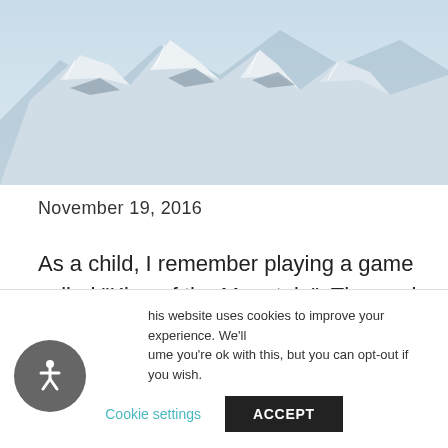[Figure (photo): Snow-covered mountain peaks with rocky outcroppings, aerial or high-angle view]
November 19, 2016
As a child, I remember playing a game called “King of the Mountain”. The goal of the game was to control a part of the playground or backyard. Once you succeeded in pushing everyone out of
his website uses cookies to improve your experience. We'll ume you're ok with this, but you can opt-out if you wish.
Cookie settings
ACCEPT